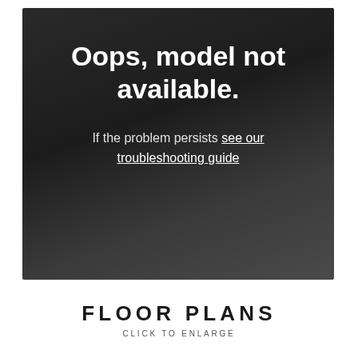[Figure (screenshot): Dark panel with error message 'Oops, model not available.' and a troubleshooting link on a dark gradient background.]
Oops, model not available.
If the problem persists see our troubleshooting guide
FLOOR PLANS
CLICK TO ENLARGE